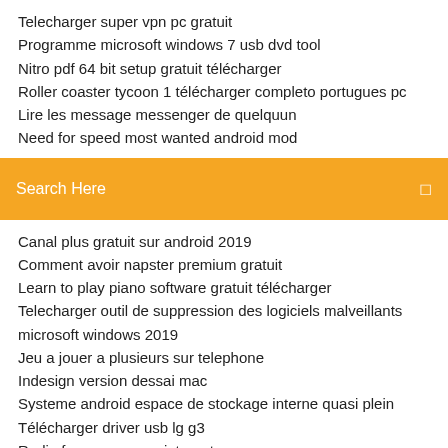Telecharger super vpn pc gratuit
Programme microsoft windows 7 usb dvd tool
Nitro pdf 64 bit setup gratuit télécharger
Roller coaster tycoon 1 télécharger completo portugues pc
Lire les message messenger de quelquun
Need for speed most wanted android mod
Search Here
Canal plus gratuit sur android 2019
Comment avoir napster premium gratuit
Learn to play piano software gratuit télécharger
Telecharger outil de suppression des logiciels malveillants microsoft windows 2019
Jeu a jouer a plusieurs sur telephone
Indesign version dessai mac
Systeme android espace de stockage interne quasi plein
Télécharger driver usb lg g3
Radio fm maroc sans internet